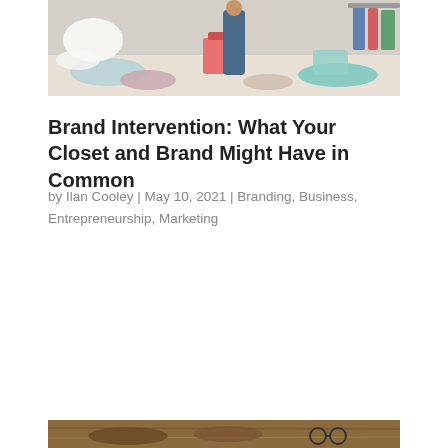[Figure (photo): A person standing in a messy room with clothes scattered on the floor and surfaces, colorful items visible including a pink bag and teal clothing.]
Brand Intervention: What Your Closet and Brand Might Have in Common
by Ilan Cooley | May 10, 2021 | Branding, Business, Entrepreneurship, Marketing
[Figure (photo): Close-up of brown shoes or sandals on a wooden surface, with glasses nearby.]